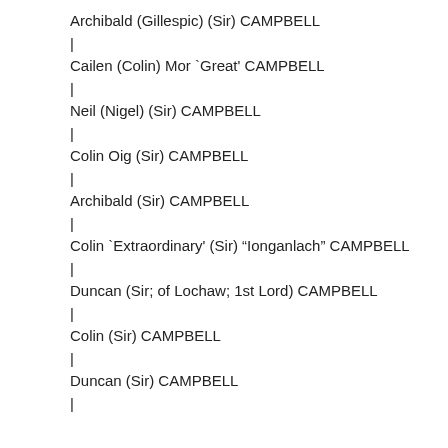Archibald (Gillespic) (Sir) CAMPBELL
|
Cailen (Colin) Mor `Great' CAMPBELL
|
Neil (Nigel) (Sir) CAMPBELL
|
Colin Oig (Sir) CAMPBELL
|
Archibald (Sir) CAMPBELL
|
Colin `Extraordinary' (Sir) "Ionganlach" CAMPBELL
|
Duncan (Sir; of Lochaw; 1st Lord) CAMPBELL
|
Colin (Sir) CAMPBELL
|
Duncan (Sir) CAMPBELL
|